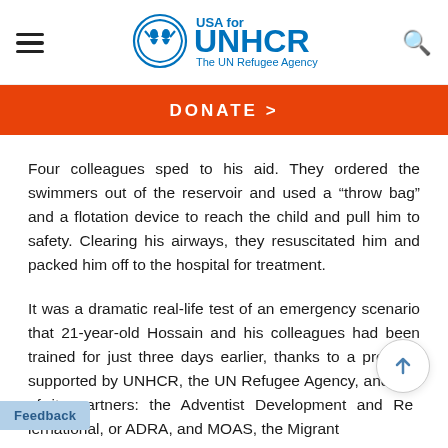USA for UNHCR The UN Refugee Agency
[Figure (logo): USA for UNHCR The UN Refugee Agency logo with UNHCR emblem]
DONATE >
Four colleagues sped to his aid. They ordered the swimmers out of the reservoir and used a “throw bag” and a flotation device to reach the child and pull him to safety. Clearing his airways, they resuscitated him and packed him off to the hospital for treatment.
It was a dramatic real-life test of an emergency scenario that 21-year-old Hossain and his colleagues had been trained for just three days earlier, thanks to a program supported by UNHCR, the UN Refugee Agency, and one of its partners: the Adventist Development and Relief International, or ADRA, and MOAS, the Migrant